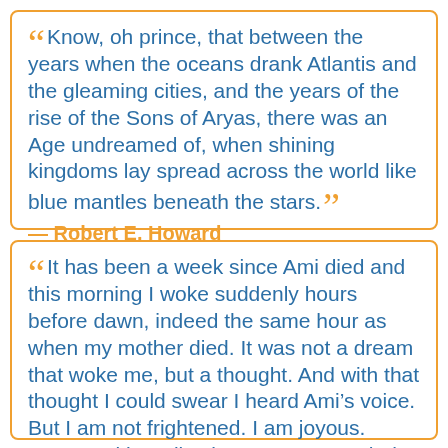“Know, oh prince, that between the years when the oceans drank Atlantis and the gleaming cities, and the years of the rise of the Sons of Aryas, there was an Age undreamed of, when shining kingdoms lay spread across the world like blue mantles beneath the stars.” — Robert E. Howard
“It has been a week since Ami died and this morning I woke suddenly hours before dawn, indeed the same hour as when my mother died. It was not a dream that woke me, but a thought. And with that thought I could swear I heard Ami’s voice. But I am not frightened. I am joyous. Joyous with realization. For I cannot help but think what a lucky person I am. Imagine that in all the eons of time, in all the possible universes of which…”